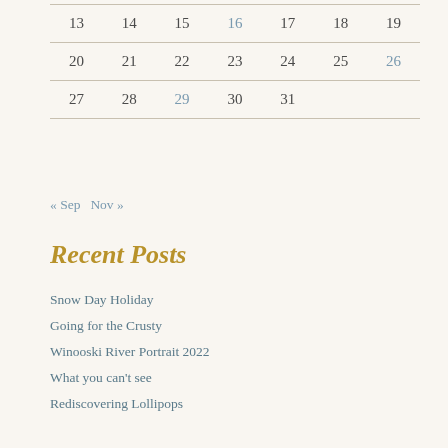| 13 | 14 | 15 | 16 | 17 | 18 | 19 |
| 20 | 21 | 22 | 23 | 24 | 25 | 26 |
| 27 | 28 | 29 | 30 | 31 |  |  |
« Sep   Nov »
Recent Posts
Snow Day Holiday
Going for the Crusty
Winooski River Portrait 2022
What you can't see
Rediscovering Lollipops